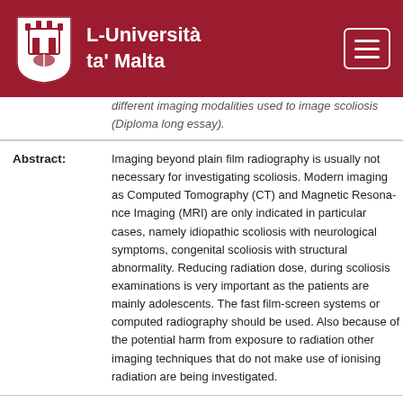L-Università ta' Malta
different imaging modalities used to image scoliosis (Diploma long essay).
| Field | Value |
| --- | --- |
| Abstract: | Imaging beyond plain film radiography is usually not necessary for investigating scoliosis. Modern imaging as Computed Tomography (CT) and Magnetic Resonance Imaging (MRI) are only indicated in particular cases, namely idiopathic scoliosis with neurological symptoms, congenital scoliosis with structural abnormality. Reducing radiation dose, during scoliosis examinations is very important as the patients are mainly adolescents. Therefore fast film-screen systems or computed radiography should be used. Also because of the potential harm from exposure to radiation other imaging techniques that do not make use of ionising radiation are being investigated. |
| Description: | DIP.RADIOGRAPHY |
| URI: | https://www.um.edu.mt/library/oar/handle/123456789/... |
| Appears in: | Dissertations - FacHSc - 2000 |